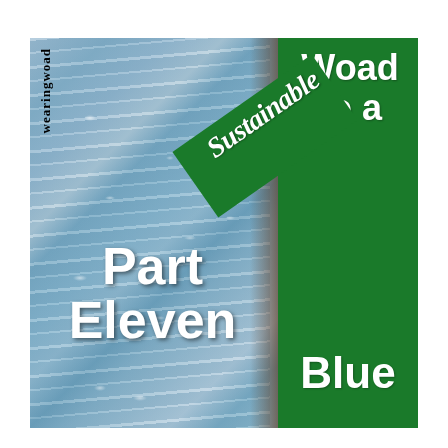[Figure (illustration): Book cover for 'Woad to a Sustainable Blue, Part Eleven' from wearingwoad. Left portion shows close-up photo of blue denim knit fabric with white highlight spots. Right portion has a dark green rectangular panel. A diagonal green banner across the middle displays 'Sustainable' in serif font. The text 'Woad to a' appears in bold white at top right on green, 'Blue' in bold white at bottom right on green, and 'Part Eleven' in bold white over the denim left side. 'wearingwoad' runs vertically along the left edge.]